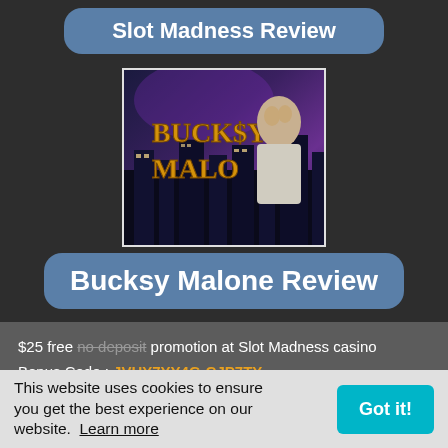Slot Madness Review
[Figure (illustration): Game artwork showing 'Bucksy Malone' text in gold letters with a cartoon character in a white suit against a dark city background]
Bucksy Malone Review
$25 free no deposit promotion at Slot Madness casino
Bonus Code : JVHY7YY4G-CJP7TY-
30 times is required to clear the bonus
Offer ends on 11-30-2020
This website uses cookies to ensure you get the best experience on our website. Learn more
deposit casino bonus back to back at Slot Madness as your balance could be removed